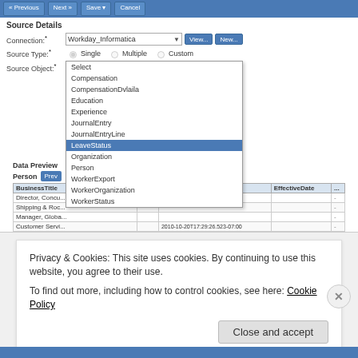[Figure (screenshot): Screenshot of a data integration tool showing Source Details configuration with Connection set to Workday_Informatica, Source Type radio buttons (Single, Multiple, Custom), Source Object dropdown showing Person selected with an expanded dropdown list including: Select, Compensation, CompensationDvlaila, Education, Experience, JournalEntry, JournalEntryLine, LeaveStatus (highlighted in blue), Organization, Person, WorkerExport, WorkerOrganization, WorkerStatus. Below shows a Data Preview section with a table containing columns BusinessTitle, lastModified, EffectiveDate and rows including Director Field Sales LATAM, Senior Benefits Analyst, Director Consulting Services, Staff Payroll Specialist, Director Product Strategy.]
Privacy & Cookies: This site uses cookies. By continuing to use this website, you agree to their use.
To find out more, including how to control cookies, see here: Cookie Policy
Close and accept